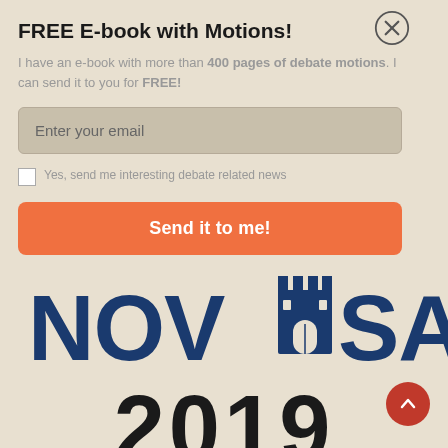FREE E-book with Motions!
I have an e-book with more than 400 pages of debate motions. I can send it to you for FREE!
[Figure (screenshot): Email input field with placeholder text 'Enter your email' on a tan/beige background]
Yes, send me interesting debate related news
Send it to me!
[Figure (logo): EUDC Novi Sad 2019 logo with red EUDC text and blue NOVI SAD text with a castle tower icon replacing the letter I, partially visible at the bottom of the page]